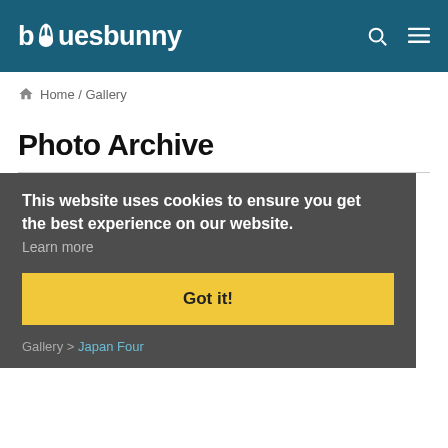bluesbunny
Home / Gallery
Photo Archive
Over the years, Bluesbunny has photographed many bands. Below is a gallery of archived photographs of promo shoots and of live gigs.
This website uses cookies to ensure you get the best experience on our website. Learn more
Got it!
Gallery > Japan Four